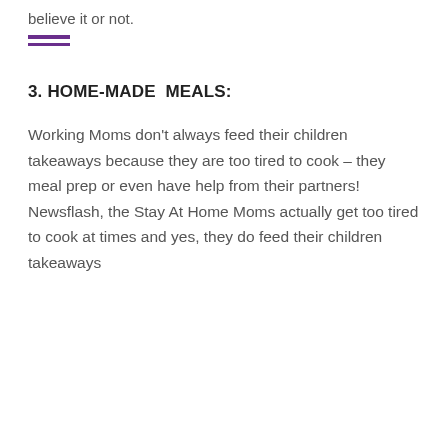believe it or not.
3. HOME-MADE  MEALS:
Working Moms don't always feed their children takeaways because they are too tired to cook – they meal prep or even have help from their partners! Newsflash, the Stay At Home Moms actually get too tired to cook at times and yes, they do feed their children takeaways